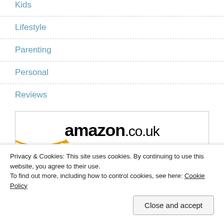Kids
Lifestyle
Parenting
Personal
Reviews
[Figure (logo): Amazon.co.uk logo with orange smile arrow, followed by text 'Great Selection' in orange italic]
Privacy & Cookies: This site uses cookies. By continuing to use this website, you agree to their use. To find out more, including how to control cookies, see here: Cookie Policy
Close and accept